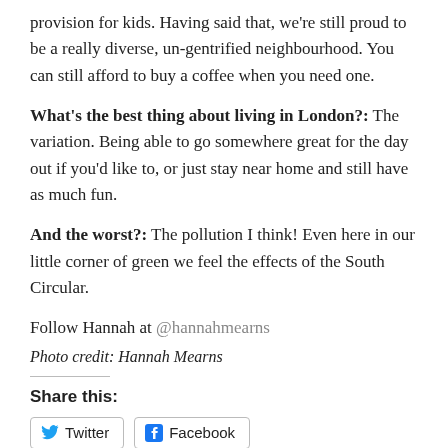provision for kids. Having said that, we're still proud to be a really diverse, un-gentrified neighbourhood. You can still afford to buy a coffee when you need one.
What's the best thing about living in London?: The variation. Being able to go somewhere great for the day out if you'd like to, or just stay near home and still have as much fun.
And the worst?: The pollution I think! Even here in our little corner of green we feel the effects of the South Circular.
Follow Hannah at @hannahmearns
Photo credit: Hannah Mearns
Share this:
Twitter  Facebook